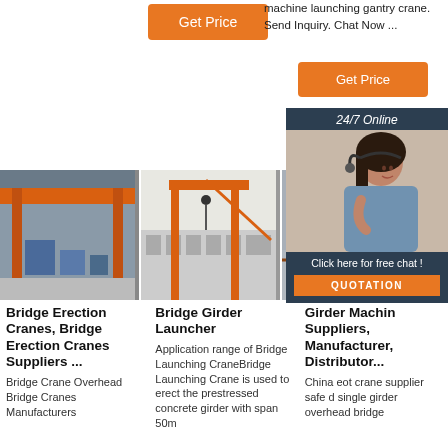[Figure (other): Orange Get Price button at top center]
machine launching gantry crane. Send Inquiry. Chat Now ...
[Figure (other): Orange Get Price button on right side]
[Figure (other): 24/7 Online chat widget with woman wearing headset, Click here for free chat!, QUOTATION button]
[Figure (photo): Interior of industrial facility with large orange overhead bridge crane]
[Figure (photo): Orange gantry crane in an outdoor/indoor industrial area]
[Figure (photo): Rusty brown lattice gantry crane structure outdoors]
Bridge Erection Cranes, Bridge Erection Cranes Suppliers ...
Bridge Crane Overhead Bridge Cranes Manufacturers
Bridge Girder Launcher
Application range of Bridge Launching CraneBridge Launching Crane is used to erect the prestressed concrete girder with span 50m
Girder Machin Suppliers, Manufacturer, Distributor...
China eot crane supplier safe d single girder overhead bridge